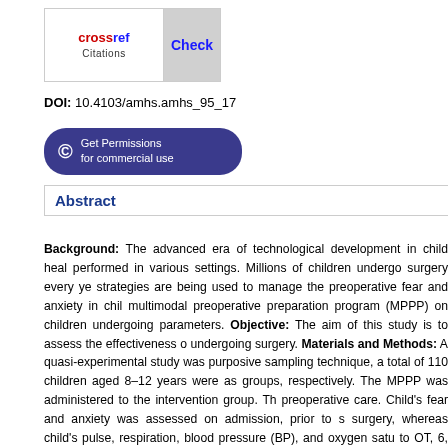[Figure (logo): CrossRef Check Citations button logo]
DOI: 10.4103/amhs.amhs_95_17
[Figure (other): Get Permissions for commercial use button]
Abstract
Background: The advanced era of technological development in child health performed in various settings. Millions of children undergo surgery every year strategies are being used to manage the preoperative fear and anxiety in child multimodal preoperative preparation program (MPPP) on children undergoing parameters. Objective: The aim of this study is to assess the effectiveness of undergoing surgery. Materials and Methods: A quasi-experimental study was purposive sampling technique, a total of 110 children aged 8–12 years were assigned groups, respectively. The MPPP was administered to the intervention group. The preoperative care. Child's fear and anxiety was assessed on admission, prior to surgery, whereas child's pulse, respiration, blood pressure (BP), and oxygen saturation to OT, 6, 12, 24, and 48 h after surgery and pain was assessed at 24 and 48 h after children were significantly lower in the intervention group than that of nonintervention only pulse, respiration, and BP showed significant difference (P < 0.05) between not differ significantly (P > 0.05). This study also found that there is a significant children with the selected demographic variables (P < 0.05). A positive correlation